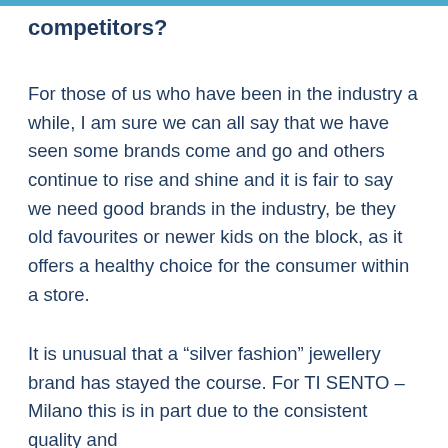competitors?
For those of us who have been in the industry a while, I am sure we can all say that we have seen some brands come and go and others continue to rise and shine and it is fair to say we need good brands in the industry, be they old favourites or newer kids on the block, as it offers a healthy choice for the consumer within a store.
It is unusual that a “silver fashion” jewellery brand has stayed the course. For TI SENTO – Milano this is in part due to the consistent quality and